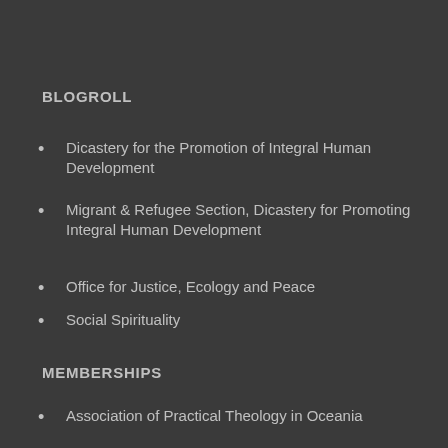BLOGROLL
Dicastery for the Promotion of Integral Human Development
Migrant & Refugee Section, Dicastery for Promoting Integral Human Development
Office for Justice, Ecology and Peace
Social Spirituality
MEMBERSHIPS
Association of Practical Theology in Oceania
Australian Catholic Theological Association
Christian Life Community NSW EXCO
Dicastery for the Promotion of Integral Human